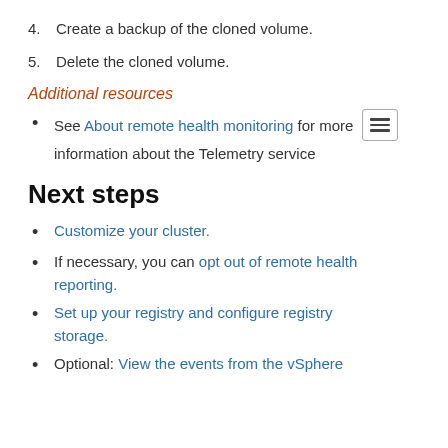4. Create a backup of the cloned volume.
5. Delete the cloned volume.
Additional resources
See About remote health monitoring for more information about the Telemetry service
Next steps
Customize your cluster.
If necessary, you can opt out of remote health reporting.
Set up your registry and configure registry storage.
Optional: View the events from the vSphere